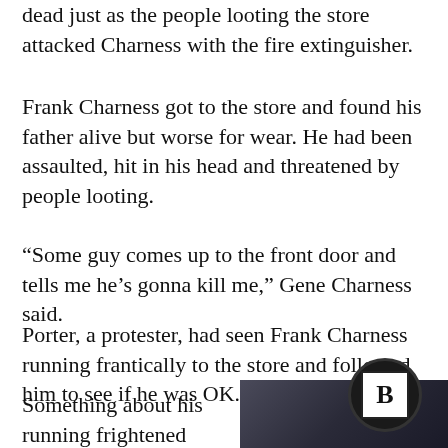dead just as the people looting the store attacked Charness with the fire extinguisher.
Frank Charness got to the store and found his father alive but worse for wear. He had been assaulted, hit in his head and threatened by people looting.
“Some guy comes up to the front door and tells me he’s gonna kill me,” Gene Charness said.
Porter, a protester, had seen Frank Charness running frantically to the store and followed him to see if he was OK.
Something about his running frightened
[Figure (photo): Partial photo of a person, dark background, with a circular Breitbart (B) logo badge overlaid in the bottom right corner]